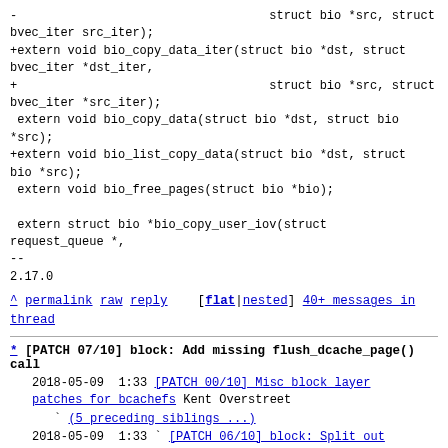-                                   struct bio *src, struct bvec_iter src_iter);
+extern void bio_copy_data_iter(struct bio *dst, struct bvec_iter *dst_iter,
+                                   struct bio *src, struct bvec_iter *src_iter);
 extern void bio_copy_data(struct bio *dst, struct bio *src);
+extern void bio_list_copy_data(struct bio *dst, struct bio *src);
 extern void bio_free_pages(struct bio *bio);

 extern struct bio *bio_copy_user_iov(struct request_queue *,
--
2.17.0
^ permalink raw reply    [flat|nested] 40+ messages in thread
* [PATCH 07/10] block: Add missing flush_dcache_page() call
   2018-05-09  1:33 [PATCH 00/10] Misc block layer patches for bcachefs Kent Overstreet
                    (5 preceding siblings ...)
   2018-05-09  1:33 [PATCH 06/10] block: Split out bio list copy data() Kent Overstreet
@ 2018-05-09  1:33 Kent Overstreet
   2018-05-09  1:33 [PATCH 08/10] block: Add warning